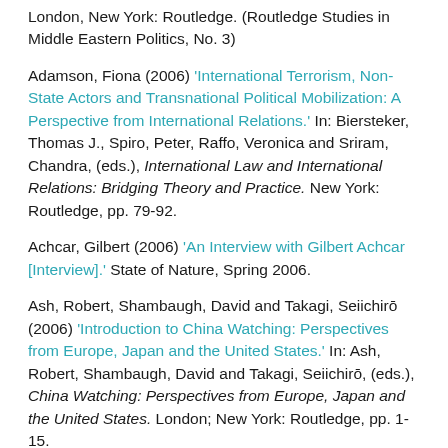London, New York: Routledge. (Routledge Studies in Middle Eastern Politics, No. 3)
Adamson, Fiona (2006) 'International Terrorism, Non-State Actors and Transnational Political Mobilization: A Perspective from International Relations.' In: Biersteker, Thomas J., Spiro, Peter, Raffo, Veronica and Sriram, Chandra, (eds.), International Law and International Relations: Bridging Theory and Practice. New York: Routledge, pp. 79-92.
Achcar, Gilbert (2006) 'An Interview with Gilbert Achcar [Interview].' State of Nature, Spring 2006.
Ash, Robert, Shambaugh, David and Takagi, Seiichirō (2006) 'Introduction to China Watching: Perspectives from Europe, Japan and the United States.' In: Ash, Robert, Shambaugh, David and Takagi, Seiichirō, (eds.), China Watching: Perspectives from Europe, Japan and the United States. London; New York: Routledge, pp. 1-15.